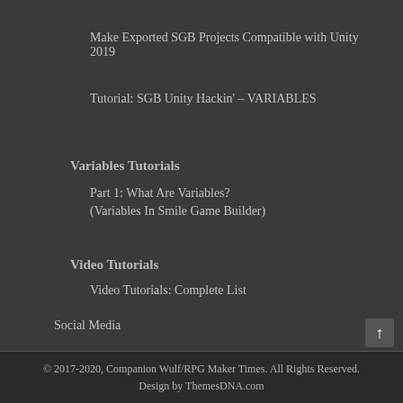Make Exported SGB Projects Compatible with Unity 2019
Tutorial: SGB Unity Hackin' – VARIABLES
Variables Tutorials
Part 1: What Are Variables?
(Variables In Smile Game Builder)
Video Tutorials
Video Tutorials: Complete List
Social Media
Terms of Use
© 2017-2020, Companion Wulf/RPG Maker Times. All Rights Reserved.
Design by ThemesDNA.com